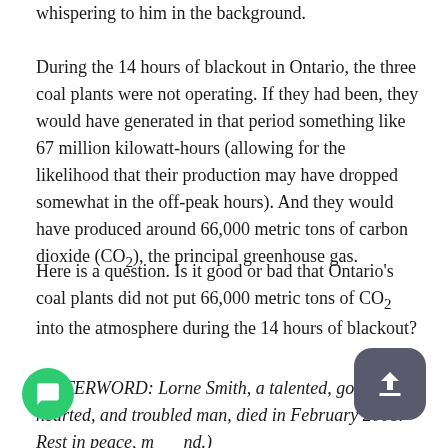whispering to him in the background.
During the 14 hours of blackout in Ontario, the three coal plants were not operating. If they had been, they would have generated in that period something like 67 million kilowatt-hours (allowing for the likelihood that their production may have dropped somewhat in the off-peak hours). And they would have produced around 66,000 metric tons of carbon dioxide (CO₂), the principal greenhouse gas.
Here is a question. Is it good or bad that Ontario's coal plants did not put 66,000 metric tons of CO₂ into the atmosphere during the 14 hours of blackout?
(AFTERWORD: Lorne Smith, a talented, good-hearted, and troubled man, died in February 2008. Rest in peace, my friend.)